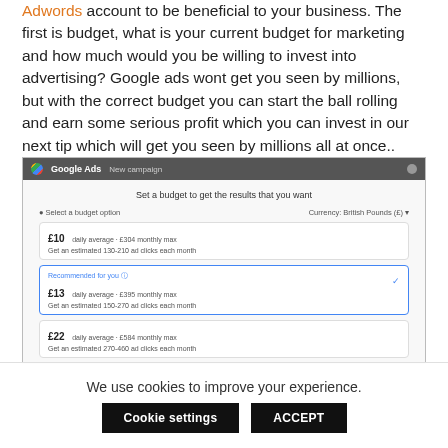Adwords account to be beneficial to your business. The first is budget, what is your current budget for marketing and how much would you be willing to invest into advertising? Google ads wont get you seen by millions, but with the correct budget you can start the ball rolling and earn some serious profit which you can invest in our next tip which will get you seen by millions all at once..
[Figure (screenshot): Google Ads 'New campaign' screenshot showing budget options: £10 daily average (~£304 monthly max), £13 daily average (~£395 monthly max, recommended), £22 daily average (~£584 monthly max)]
We use cookies to improve your experience.
Cookie settings | ACCEPT